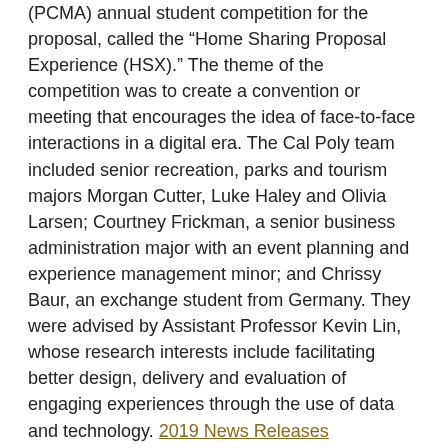(PCMA) annual student competition for the proposal, called the “Home Sharing Proposal Experience (HSX).” The theme of the competition was to create a convention or meeting that encourages the idea of face-to-face interactions in a digital era. The Cal Poly team included senior recreation, parks and tourism majors Morgan Cutter, Luke Haley and Olivia Larsen; Courtney Frickman, a senior business administration major with an event planning and experience management minor; and Chrissy Baur, an exchange student from Germany. They were advised by Assistant Professor Kevin Lin, whose research interests include facilitating better design, delivery and evaluation of engaging experiences through the use of data and technology. 2019 News Releases
Cal Poly Students Place First in Screenwriting and Promotional Video at the CSU Media Arts Festival
Three Cal Poly students placed at the 29th annual CSU Media Arts Festival in Los Angeles on Wednesday, Nov.